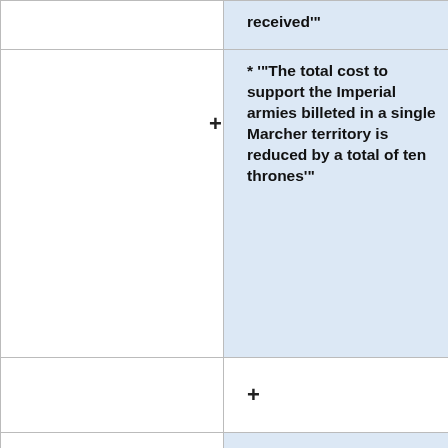|  | received'" |
|  | * '"The total cost to support the Imperial armies billeted in a single Marcher territory is reduced by a total of ten thrones'" |
|  | + |
|  | The soldiers of the army are dispersed across the Marcher territory they are instructed to defend. Those who are injured are fed and supported while they recover from their wounds. Those who can will be expected to work the farm at the direction of the yeoman who owns it in exchange |